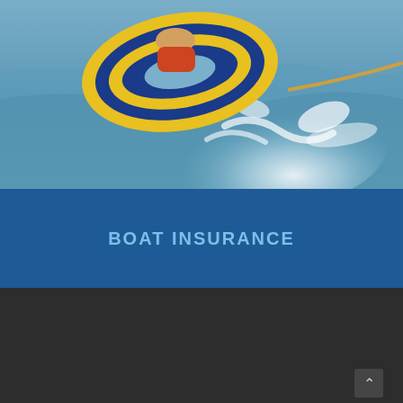[Figure (photo): Water action photo showing a person riding a colorful yellow and blue inflatable tube being pulled across water with splashing waves]
BOAT INSURANCE
About Us
Texas Insurance & Financial Services is an independent insurance agency with offices in El Campo, Georgetown, and Needville, Texas.
Give us a call, stop by, or request a quote online to find out how much we can save you on your insurance.